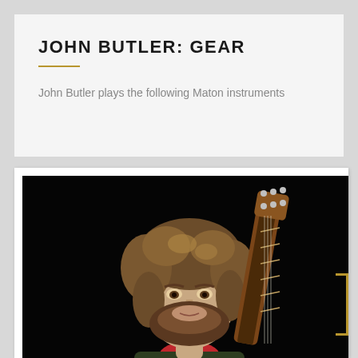JOHN BUTLER: GEAR
John Butler plays the following Maton instruments
[Figure (photo): Portrait photograph of John Butler, a bearded man with curly brown hair, holding an acoustic guitar (neck visible over right shoulder), wearing a red scarf and green jacket, against a black background.]